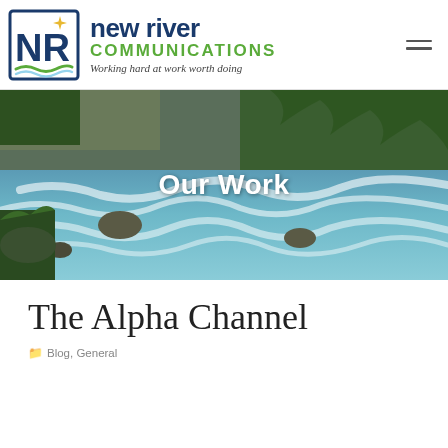[Figure (logo): New River Communications logo: NR monogram in dark blue square with compass star, green river wave, company name in dark blue and green, tagline in italic]
[Figure (photo): A rushing river with white rapids flowing over mossy rocks, lush green vegetation on banks and cliff walls, outdoors nature scene]
Our Work
The Alpha Channel
Blog, General